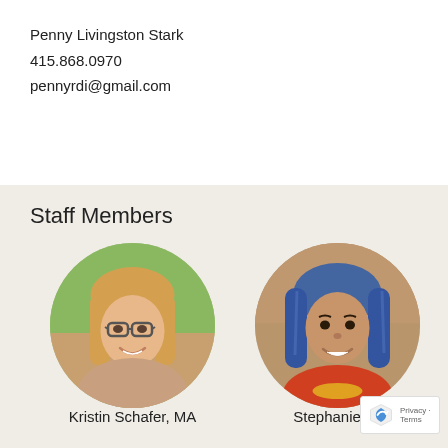Penny Livingston Stark
415.868.0970
pennyrdi@gmail.com
Staff Members
[Figure (photo): Circular portrait photo of Kristin Schafer, MA — a woman with long blonde hair and glasses, smiling outdoors]
Kristin Schafer, MA
[Figure (photo): Circular portrait photo of Stephanie Tu — a woman with blue braided hair, smiling]
Stephanie Tu